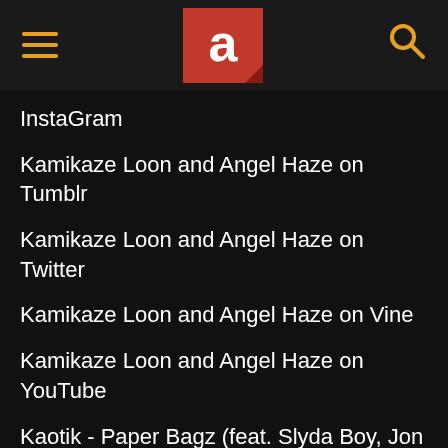[Figure (screenshot): Dark-themed mobile app header bar with hamburger menu icon (three yellow lines) on the left, a red square logo with white 'a' letter in the center, and a yellow search magnifying glass icon on the right]
InstaGram
Kamikaze Loon and Angel Haze on Tumblr
Kamikaze Loon and Angel Haze on Twitter
Kamikaze Loon and Angel Haze on Vine
Kamikaze Loon and Angel Haze on YouTube
Kaotik - Paper Bagz (feat. Slyda Boy, Jon Jon, and Shy'n Star) on Amazon
Kaotik - Paper Bagz (feat. Slyda Boy, Jon Jon, and Shy'n Star) on Google Play
Kaotik - Paper Bagz (feat. Slyda Boy, Jon